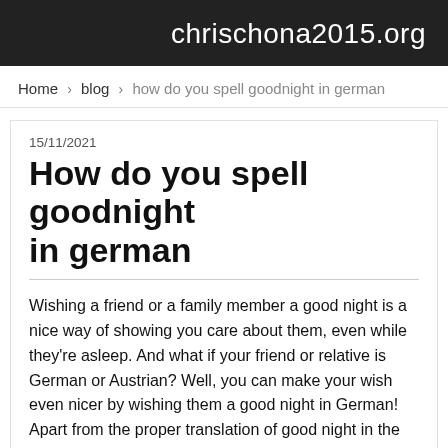chrischona2015.org
Home › blog › how do you spell goodnight in german
15/11/2021
How do you spell goodnight in german
Wishing a friend or a family member a good night is a nice way of showing you care about them, even while they're asleep. And what if your friend or relative is German or Austrian? Well, you can make your wish even nicer by wishing them a good night in German! Apart from the proper translation of good night in the German language, you will also learn some other